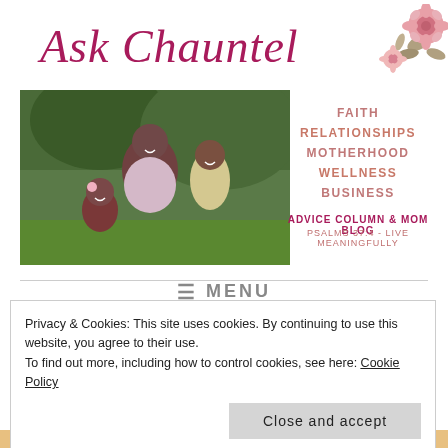Ask Chauntel
[Figure (photo): Decorative floral illustration in pink and taupe tones, positioned in the upper right corner]
[Figure (photo): Photo of a woman and two young girls smiling outdoors in a garden setting]
FAITH
RELATIONSHIPS
MOTHERHOOD
WELLNESS
BUSINESS
ADVICE COLUMN & MOM BLOG
PSALMS 37:4 - LIVE MEANINGFULLY
≡ MENU
Privacy & Cookies: This site uses cookies. By continuing to use this website, you agree to their use.
To find out more, including how to control cookies, see here: Cookie Policy
Close and accept